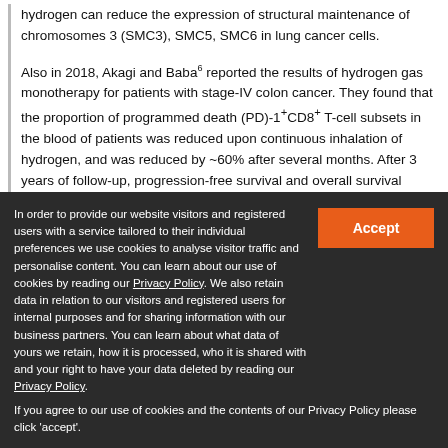hydrogen can reduce the expression of structural maintenance of chromosomes 3 (SMC3), SMC5, SMC6 in lung cancer cells.
Also in 2018, Akagi and Baba⁶ reported the results of hydrogen gas monotherapy for patients with stage-IV colon cancer. They found that the proportion of programmed death (PD)-1⁺CD8⁺ T-cell subsets in the blood of patients was reduced upon continuous inhalation of hydrogen, and was reduced by ~60% after several months. After 3 years of follow-up, progression-free survival and overall survival were prolonged significantly.
In order to provide our website visitors and registered users with a service tailored to their individual preferences we use cookies to analyse visitor traffic and personalise content. You can learn about our use of cookies by reading our Privacy Policy. We also retain data in relation to our visitors and registered users for internal purposes and for sharing information with our business partners. You can learn about what data of yours we retain, how it is processed, who it is shared with and your right to have your data deleted by reading our Privacy Policy. If you agree to our use of cookies and the contents of our Privacy Policy please click 'accept'.